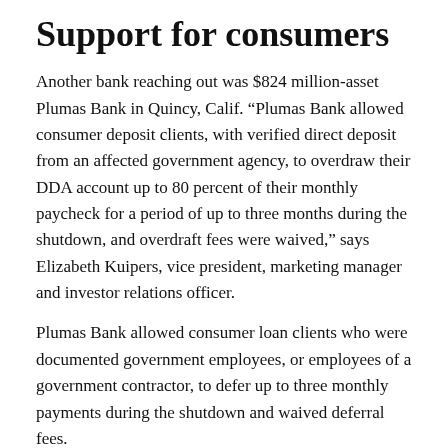Support for consumers
Another bank reaching out was $824 million-asset Plumas Bank in Quincy, Calif. “Plumas Bank allowed consumer deposit clients, with verified direct deposit from an affected government agency, to overdraw their DDA account up to 80 percent of their monthly paycheck for a period of up to three months during the shutdown, and overdraft fees were waived,” says Elizabeth Kuipers, vice president, marketing manager and investor relations officer.
Plumas Bank allowed consumer loan clients who were documented government employees, or employees of a government contractor, to defer up to three monthly payments during the shutdown and waived deferral fees.
In addition, the community bank allowed consumer HELOC clients with no funds left on their line to take advantage of a three-month deferral with the agreement that the finance